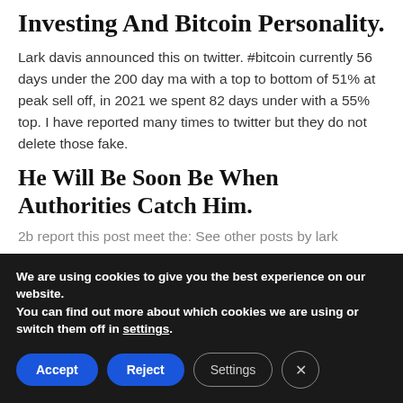Investing And Bitcoin Personality.
Lark davis announced this on twitter. #bitcoin currently 56 days under the 200 day ma with a top to bottom of 51% at peak sell off, in 2021 we spent 82 days under with a 55% top. I have reported many times to twitter but they do not delete those fake.
He Will Be Soon Be When Authorities Catch Him.
2b report this post meet the: See other posts by lark
We are using cookies to give you the best experience on our website.
You can find out more about which cookies we are using or switch them off in settings.
Accept | Reject | Settings | X